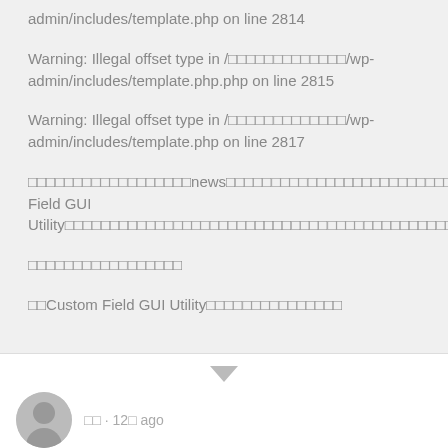admin/includes/template.php on line 2814
Warning: Illegal offset type in /□□□□□□□□□□□□□/wp-admin/includes/template.php.php on line 2815
Warning: Illegal offset type in /□□□□□□□□□□□□□/wp-admin/includes/template.php on line 2817
□□□□□□□□□□□□□□□□□□news□□□□□□□□□□□□□□□□□□□□□□□□□□□□□□□□□□□□□□□□□□□□□□□□□□□□□□□□□□□□□□□□□□□□□□□□□□□□□□□□□□□□□Custom Field GUI Utility□□□□□□□□□□□□□□□□□□□□□□□□□□□□□□□□□□□□□□□□□□□□□□□□□□□□□□□□□□□□□□□□□□□□□□□□□□□□□□□□□□□□□□□□□□□□□□□□□□□□□□□□□□□□□□
□□□□□□□□□□□□□□□□□
□□Custom Field GUI Utility□□□□□□□□□□□□□□□
□□ · 12□ ago